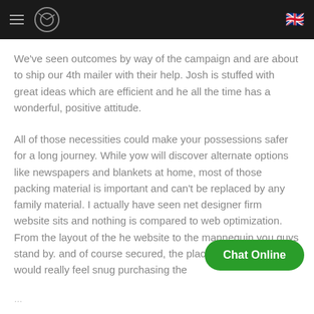Navigation bar with hamburger menu, logo, and UK flag
We've seen outcomes by way of the campaign and are about to ship our 4th mailer with their help. Josh is stuffed with great ideas which are efficient and he all the time has a wonderful, positive attitude.
All of those necessities could make your possessions safer for a long journey. While yow will discover alternate options like newspapers and blankets at home, most of those packing material is important and can't be replaced by any family material. I actually have seen net designer firm website sits and nothing is compared to web optimization. From the layout of the he website to the mannequin you guys stand by. and of course secured, the place our shoppers would really feel snug purchasing the
Chat Online